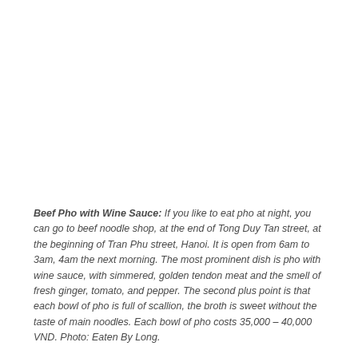Beef Pho with Wine Sauce: If you like to eat pho at night, you can go to beef noodle shop, at the end of Tong Duy Tan street, at the beginning of Tran Phu street, Hanoi. It is open from 6am to 3am, 4am the next morning. The most prominent dish is pho with wine sauce, with simmered, golden tendon meat and the smell of fresh ginger, tomato, and pepper. The second plus point is that each bowl of pho is full of scallion, the broth is sweet without the taste of main noodles. Each bowl of pho costs 35,000 – 40,000 VND. Photo: Eaten By Long.